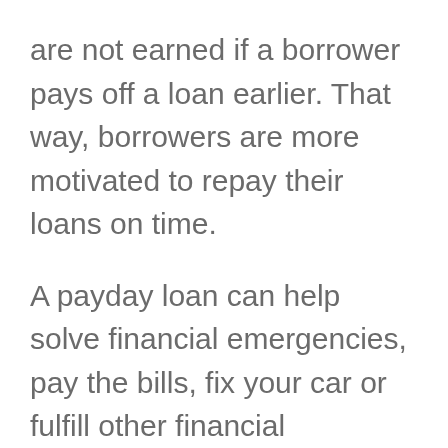are not earned if a borrower pays off a loan earlier. That way, borrowers are more motivated to repay their loans on time.
A payday loan can help solve financial emergencies, pay the bills, fix your car or fulfill other financial obligations. One of the main benefits of a cash advance is that it is faster to get one, and the requirements are simple. These loans were created for emergencies, and the